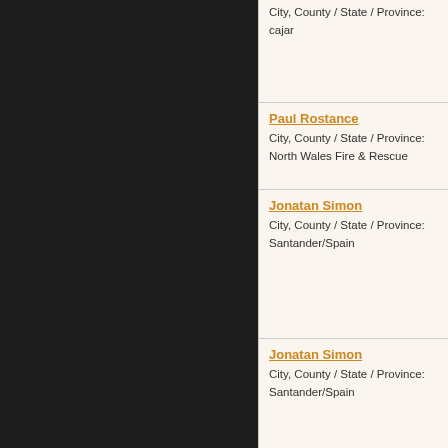City, County / State / Province: cajar
Paul Rostance
City, County / State / Province: North Wales Fire & Rescue
Jonatan Simon
City, County / State / Province: Santander/Spain
Jonatan Simon
City, County / State / Province: Santander/Spain
Derek Smith
City, County / State / Province: London/Surrey
Derek Smith
City, County / State / Province: London/Surrey
Derek Smith
City, County / State / Province: London/Surrey